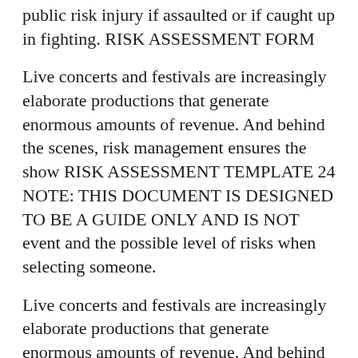public risk injury if assaulted or if caught up in fighting. RISK ASSESSMENT FORM
Live concerts and festivals are increasingly elaborate productions that generate enormous amounts of revenue. And behind the scenes, risk management ensures the show RISK ASSESSMENT TEMPLATE 24 NOTE: THIS DOCUMENT IS DESIGNED TO BE A GUIDE ONLY AND IS NOT event and the possible level of risks when selecting someone.
Live concerts and festivals are increasingly elaborate productions that generate enormous amounts of revenue. And behind the scenes, risk management ensures the show Risk Analysis for Major Concert Events It was found that at